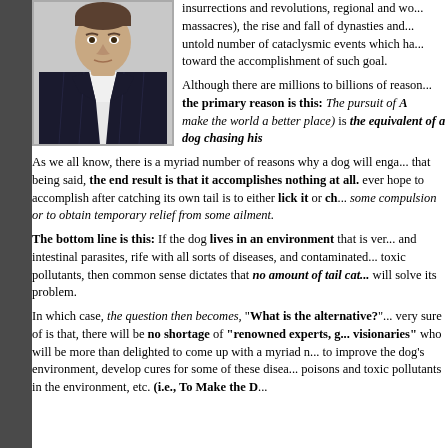[Figure (photo): Portrait photo of a man in a dark pinstripe suit with white shirt, from chest up.]
insurrections and revolutions, regional and wo... massacres), the rise and fall of dynasties and... untold number of cataclysmic events which ha... toward the accomplishment of such goal.
Although there are millions to billions of reason... the primary reason is this: The pursuit of A... make the world a better place) is the equivalent of a dog chasing his...
As we all know, there is a myriad number of reasons why a dog will enga... that being said, the end result is that it accomplishes nothing at all. ever hope to accomplish after catching its own tail is to either lick it or ch... some compulsion or to obtain temporary relief from some ailment.
The bottom line is this: If the dog lives in an environment that is ver... and intestinal parasites, rife with all sorts of diseases, and contaminated... toxic pollutants, then common sense dictates that no amount of tail cat... will solve its problem.
In which case, the question then becomes, "What is the alternative?"... very sure of is that, there will be no shortage of "renowned experts, g... visionaries" who will be more than delighted to come up with a myriad n... to improve the dog's environment, develop cures for some of these disea... poisons and toxic pollutants in the environment, etc. (i.e., To Make the D...